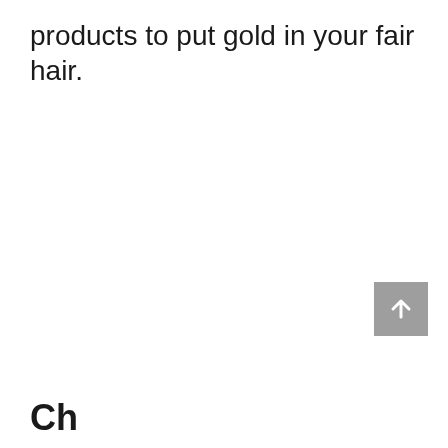products to put gold in your fair hair.
[Figure (other): Gray square button with a white upward-pointing arrow, positioned in the lower-right area of the page.]
Ch...